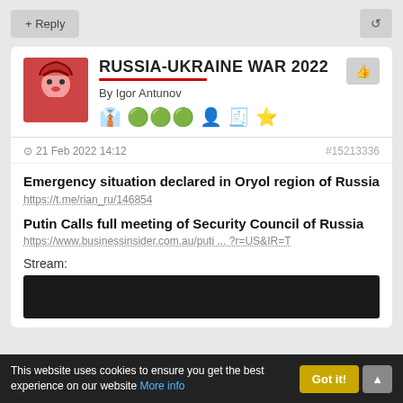+ Reply
RUSSIA-UKRAINE WAR 2022
By Igor Antunov
- 21 Feb 2022 14:12   #15213336
Emergency situation declared in Oryol region of Russia
https://t.me/rian_ru/146854
Putin Calls full meeting of Security Council of Russia
https://www.businessinsider.com.au/puti ... ?r=US&IR=T
Stream:
This website uses cookies to ensure you get the best experience on our website More info